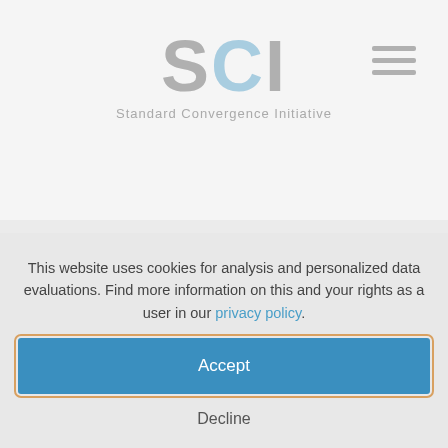[Figure (logo): SCI logo with large stylized letters S, C, I where C is light blue and S and I are gray, with subtitle 'Standard Convergence Initiative' below]
[Figure (other): Hamburger menu icon consisting of three gray horizontal lines in top right corner]
This website uses cookies for analysis and personalized data evaluations. Find more information on this and your rights as a user in our privacy policy.
Accept
Decline